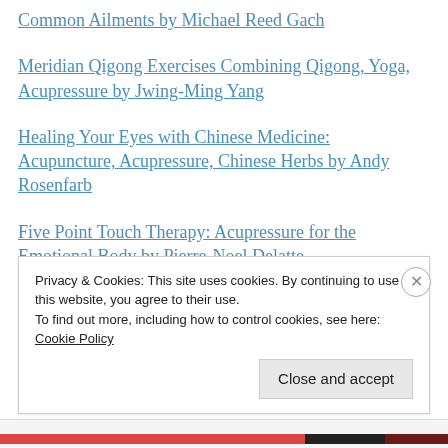Common Ailments by Michael Reed Gach
Meridian Qigong Exercises Combining Qigong, Yoga, Acupressure by Jwing-Ming Yang
Healing Your Eyes with Chinese Medicine: Acupuncture, Acupressure, Chinese Herbs by Andy Rosenfarb
Five Point Touch Therapy: Acupressure for the Emotional Body by Pierre-Noel Delatte
Privacy & Cookies: This site uses cookies. By continuing to use this website, you agree to their use.
To find out more, including how to control cookies, see here: Cookie Policy
Close and accept